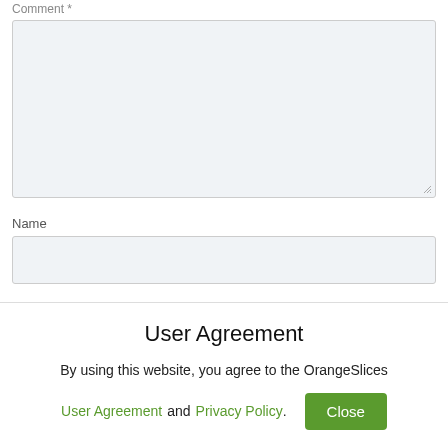Comment *
[Figure (other): Comment textarea input box with light blue-grey background and resize handle]
Name
[Figure (other): Name text input box with light blue-grey background]
User Agreement
By using this website, you agree to the OrangeSlices
User Agreement and Privacy Policy. Close